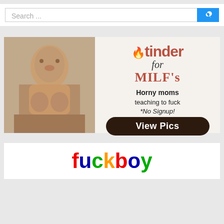[Figure (screenshot): Search bar with text placeholder 'Search ...' and a blue search button with magnifying glass icon]
[Figure (advertisement): Advertisement banner: left half shows a sepia-toned photo, right half shows 'tinder for MILF's - Horny moms teaching to fuck *No Signup! View Pics' on light background]
[Figure (screenshot): Bottom partial view of another advertisement showing colorful 'fuckboy' style text logo in red, blue, green, and yellow colors]